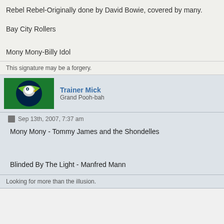Rebel Rebel-Originally done by David Bowie, covered by many.
Bay City Rollers
Mony Mony-Billy Idol
This signature may be a forgery.
Trainer Mick
Grand Pooh-bah
Sep 13th, 2007, 7:37 am
Mony Mony - Tommy James and the Shondelles
Blinded By The Light - Manfred Mann
Looking for more than the illusion.